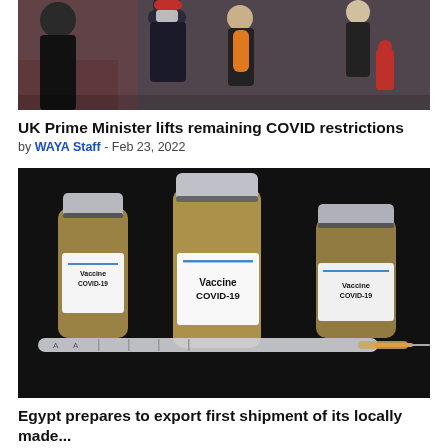[Figure (photo): People wearing face masks walking on a busy street, with a red post box visible in the background]
UK Prime Minister lifts remaining COVID restrictions
by WAYA Staff - Feb 23, 2022
[Figure (photo): Three vaccine vials labeled 'Vaccine COVID-19' on a dark background with a syringe in the foreground]
Egypt prepares to export first shipment of its locally made...
by WAYA Staff - Feb 21, 2022